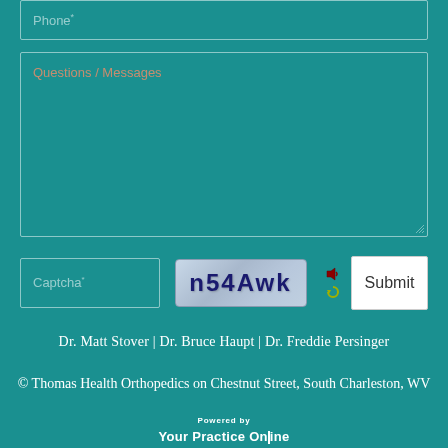[Figure (screenshot): Phone input field with placeholder text 'Phone*' on teal background]
[Figure (screenshot): Questions / Messages textarea on teal background]
[Figure (screenshot): Captcha row with input field labeled 'Captcha*', captcha image showing 'n54Awk', refresh/audio icons, and white Submit button]
Dr. Matt Stover | Dr. Bruce Haupt | Dr. Freddie Persinger
© Thomas Health Orthopedics on Chestnut Street, South Charleston, WV
Powered by Your Practice Online